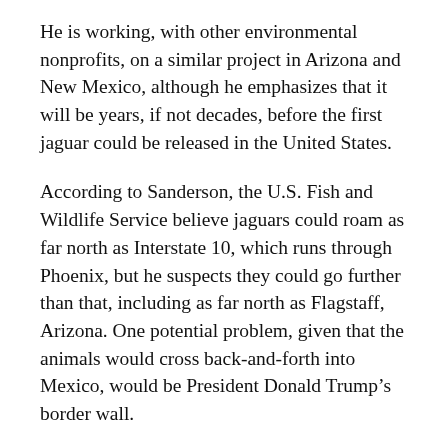He is working, with other environmental nonprofits, on a similar project in Arizona and New Mexico, although he emphasizes that it will be years, if not decades, before the first jaguar could be released in the United States.
According to Sanderson, the U.S. Fish and Wildlife Service believe jaguars could roam as far north as Interstate 10, which runs through Phoenix, but he suspects they could go further than that, including as far north as Flagstaff, Arizona. One potential problem, given that the animals would cross back-and-forth into Mexico, would be President Donald Trump's border wall.
“They are on a much faster track in Argentina,” Sanderson said. “But it would be wonderful to see a sustained jaguar population both in Iberá and in the U.S. once again. We have to remind people that they are